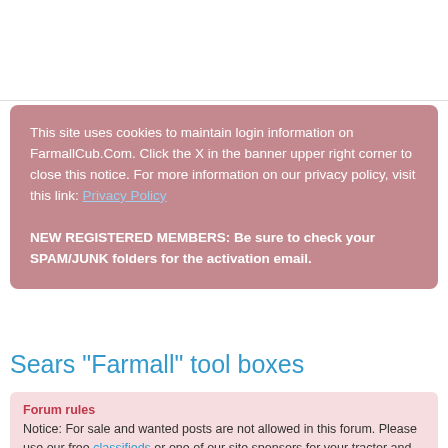This site uses cookies to maintain login information on FarmallCub.Com. Click the X in the banner upper right corner to close this notice. For more information on our privacy policy, visit this link: Privacy Policy

NEW REGISTERED MEMBERS: Be sure to check your SPAM/JUNK folders for the activation email.
Sears "Farmall" tool boxes
Forum rules
Notice: For sale and wanted posts are not allowed in this forum. Please use our free classifieds or one of our site sponsors for your tractor and parts needs.
Post Reply
17 posts  1  2  >
Bob Perry
Cub Pro